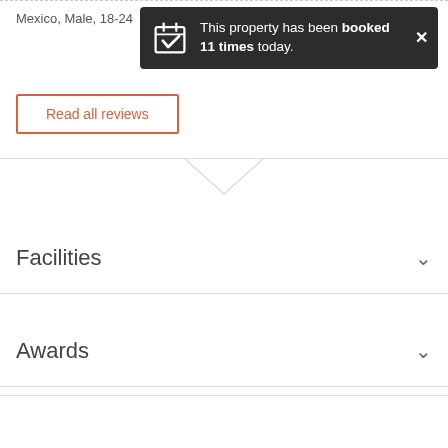Mexico, Male, 18-24
[Figure (screenshot): Dark toast notification reading 'This property has been booked 11 times today.' with a calendar-check icon and a close (×) button.]
Read all reviews
[Figure (other): Horizontal rule with a downward chevron/arrow shape centered at the divider.]
Facilities
Awards